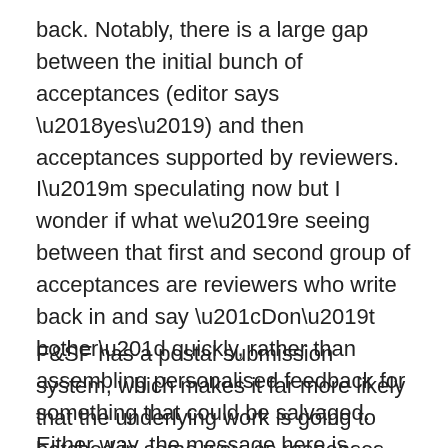back. Notably, there is a large gap between the initial bunch of acceptances (editor says ‘yes’) and then acceptances supported by reviewers. I’m speculating now but I wonder if what we’re seeing between that first and second group of acceptances are reviewers who write back in and say “Don’t bother” quickly, rather than assembling personalised feedback for something that could be salvaged. Either way, the message here is simple. If you survive the first four weeks in F&SF system, then you are much less likely to be rejected and, with any luck, this may translate (worse case) into personal suggestions for improvement.
F&SF has a postal submission system, which makes it far more likely that the underlying work is going to batched in some way, as responses have to go out via mail and doing